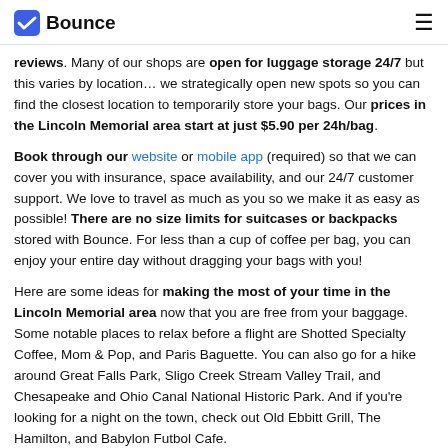Bounce
reviews. Many of our shops are open for luggage storage 24/7 but this varies by location… we strategically open new spots so you can find the closest location to temporarily store your bags. Our prices in the Lincoln Memorial area start at just $5.90 per 24h/bag.
Book through our website or mobile app (required) so that we can cover you with insurance, space availability, and our 24/7 customer support. We love to travel as much as you so we make it as easy as possible! There are no size limits for suitcases or backpacks stored with Bounce. For less than a cup of coffee per bag, you can enjoy your entire day without dragging your bags with you!
Here are some ideas for making the most of your time in the Lincoln Memorial area now that you are free from your baggage. Some notable places to relax before a flight are Shotted Specialty Coffee, Mom & Pop, and Paris Baguette. You can also go for a hike around Great Falls Park, Sligo Creek Stream Valley Trail, and Chesapeake and Ohio Canal National Historic Park. And if you're looking for a night on the town, check out Old Ebbitt Grill, The Hamilton, and Babylon Futbol Cafe.